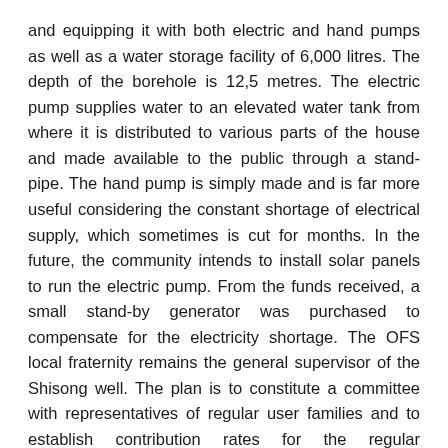and equipping it with both electric and hand pumps as well as a water storage facility of 6,000 litres. The depth of the borehole is 12,5 metres. The electric pump supplies water to an elevated water tank from where it is distributed to various parts of the house and made available to the public through a stand-pipe. The hand pump is simply made and is far more useful considering the constant shortage of electrical supply, which sometimes is cut for months. In the future, the community intends to install solar panels to run the electric pump. From the funds received, a small stand-by generator was purchased to compensate for the electricity shortage. The OFS local fraternity remains the general supervisor of the Shisong well. The plan is to constitute a committee with representatives of regular user families and to establish contribution rates for the regular maintenance of the well. The estimated annual contribution per family per year is 1200 CFA francs (about 2 Euros).
Shisong has suffered without water for the past several years. With the digging of a new well everyone is presently a